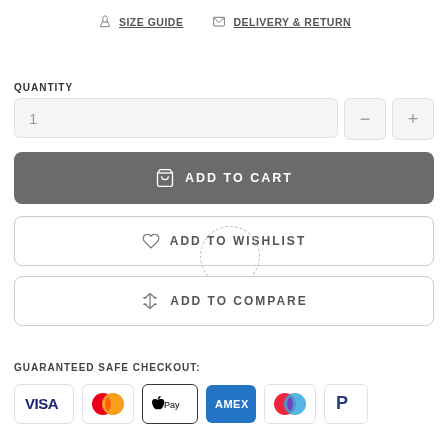SIZE GUIDE
DELIVERY & RETURN
QUANTITY
[Figure (screenshot): Quantity input field showing '1' with minus and plus buttons]
[Figure (screenshot): Dark gray ADD TO CART button with shopping bag icon]
[Figure (screenshot): ADD TO WISHLIST button with heart icon and dashed circular overlay]
[Figure (screenshot): ADD TO COMPARE button with scales icon]
GUARANTEED SAFE CHECKOUT:
[Figure (screenshot): Payment method icons: Visa, Mastercard, Apple Pay, American Express, Mastercard (red/blue), PayPal]